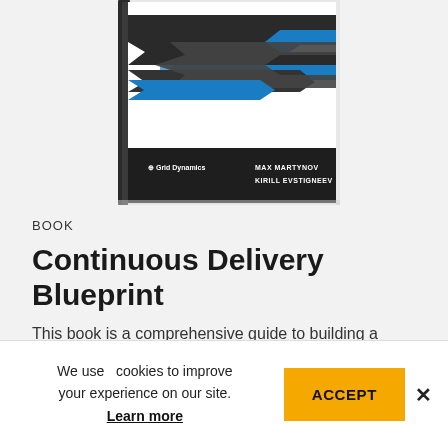[Figure (illustration): Book cover of 'Continuous Delivery Blueprint' by Max Martynov and Kirill Evstigneev, published by Grid Dynamics. Cover features intertwined blue and dark gray ribbon/arrow shapes on a white background with a dark bottom band showing author names and publisher logo.]
BOOK
Continuous Delivery Blueprint
This book is a comprehensive guide to building a robust and efficient change management process at scale.
We use cookies to improve your experience on our site. Learn more
ACCEPT